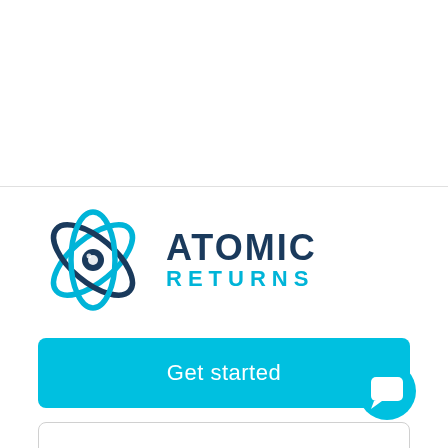[Figure (logo): Atomic Returns logo with atom icon and company name in dark blue and teal]
Get started
Contact Us
[Figure (illustration): Teal circular chat/message bubble icon in bottom right corner]